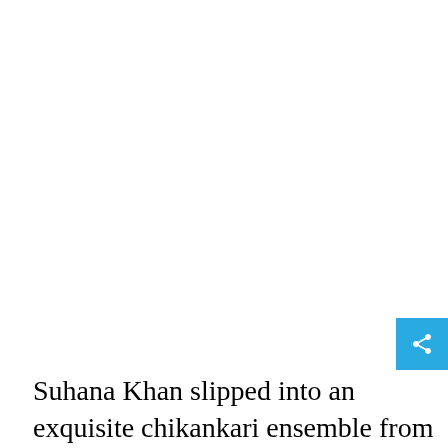[Figure (photo): Large white/blank area occupying the upper portion of the page, likely a photo placeholder or whitespace above caption text.]
Suhana Khan slipped into an exquisite chikankari ensemble from the coveted collection of Manish Malhotra. The outfit featured an intricate display of white-on-white thread work in floral-inspired patterns.